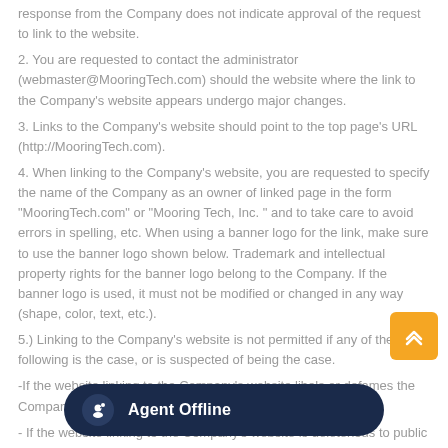response from the Company does not indicate approval of the request to link to the website.
2. You are requested to contact the administrator (webmaster@MooringTech.com) should the website where the link to the Company's website appears undergo major changes.
3. Links to the Company's website should point to the top page's URL (http://MooringTech.com).
4. When linking to the Company's website, you are requested to specify the name of the Company as an owner of linked page in the form "MooringTech.com" or "Mooring Tech, Inc. " and to take care to avoid errors in spelling, etc. When using a banner logo for the link, make sure to use the banner logo shown below. Trademark and intellectual property rights for the banner logo belong to the Company. If the banner logo is used, it must not be modified or changed in any way (shape, color, text, etc.).
5.) Linking to the Company's website is not permitted if any of the following is the case, or is suspected of being the case.
-If the website linking to the Company's website libels or defames the Company, its subsidiaries, their officers, or their employees.
- If the website linking to the Company's website is deleterious to public order and morals, or could otherwise harm the reputation or brand image of the Company.
- If the format of the link makes it unclear that the material references